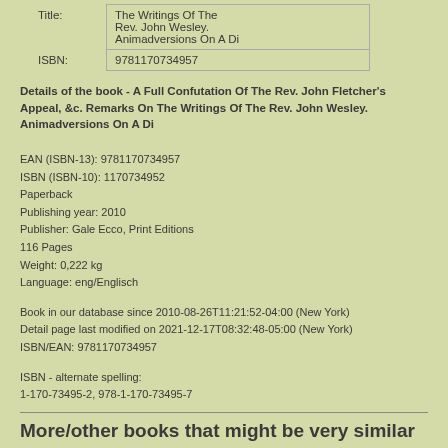| Title: | The Writings Of The Rev. John Wesley. Animadversions On A Di |
| ISBN: | 9781170734957 |
Details of the book - A Full Confutation Of The Rev. John Fletcher's Appeal, &c. Remarks On The Writings Of The Rev. John Wesley. Animadversions On A Di
EAN (ISBN-13): 9781170734957
ISBN (ISBN-10): 1170734952
Paperback
Publishing year: 2010
Publisher: Gale Ecco, Print Editions
116 Pages
Weight: 0,222 kg
Language: eng/Englisch
Book in our database since 2010-08-26T11:21:52-04:00 (New York)
Detail page last modified on 2021-12-17T08:32:48-05:00 (New York)
ISBN/EAN: 9781170734957
ISBN - alternate spelling:
1-170-73495-2, 978-1-170-73495-7
More/other books that might be very similar to this book